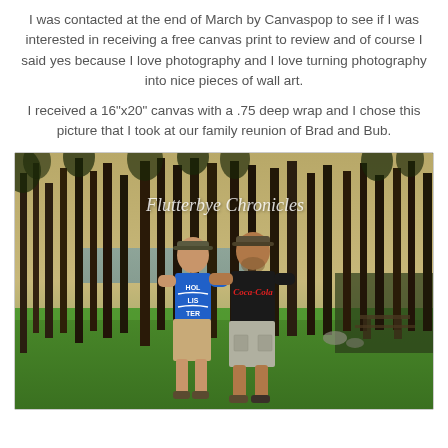I was contacted at the end of March by Canvaspop to see if I was interested in receiving a free canvas print to review and of course I said yes because I love photography and I love turning photography into nice pieces of wall art.
I received a 16"x20" canvas with a .75 deep wrap and I chose this picture that I took at our family reunion of Brad and Bub.
[Figure (photo): Outdoor photo of two men standing on green grass among tall pine trees, with watermark text 'Flutterbye Chronicles' overlaid. One man wears a blue Hollister shirt and khaki shorts, the other wears a black Coca-Cola shirt and grey cargo shorts. Both wear baseball caps.]